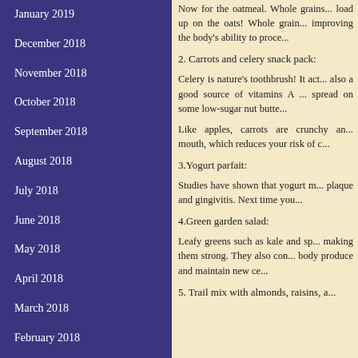January 2019
December 2018
November 2018
October 2018
September 2018
August 2018
July 2018
June 2018
May 2018
April 2018
March 2018
February 2018
January 2018
December 2017
Now for the oatmeal. Whole grains... load up on the oats! Whole grain... improving the body's ability to proce...
2. Carrots and celery snack pack:
Celery is nature's toothbrush! It act... also a good source of vitamins A... spread on some low-sugar nut butte...
Like apples, carrots are crunchy an... mouth, which reduces your risk of c...
3.Yogurt parfait:
Studies have shown that yogurt m... plaque and gingivitis. Next time you...
4.Green garden salad:
Leafy greens such as kale and sp... making them strong. They also con... body produce and maintain new ce...
5. Trail mix with almonds, raisins, a...